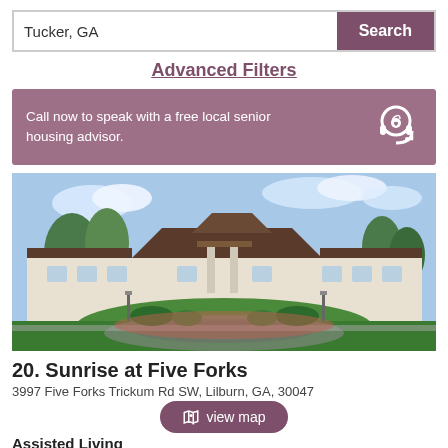Tucker, GA
Search
Advanced Filters
Call now to speak with a free local senior housing advisor.
[Figure (photo): Exterior photo of Sunrise at Five Forks senior living facility — a large white multi-story building with a circular driveway and landscaped grounds.]
20. Sunrise at Five Forks
3997 Five Forks Trickum Rd SW, Lilburn, GA, 30047
view map
Assisted Living